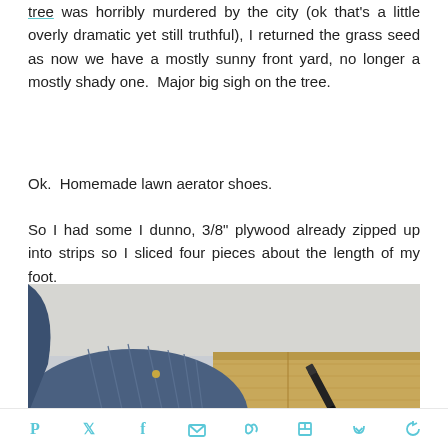tree was horribly murdered by the city (ok that's a little overly dramatic yet still truthful), I returned the grass seed as now we have a mostly sunny front yard, no longer a mostly shady one.  Major big sigh on the tree.
Ok.  Homemade lawn aerator shoes.
So I had some I dunno, 3/8" plywood already zipped up into strips so I sliced four pieces about the length of my foot.
[Figure (photo): Photo showing a person's foot/leg wearing jeans next to a piece of wood with a black marker/pen on it, against a light wall background.]
Social sharing icons: Pinterest, Twitter, Facebook, Email, Bloglovin, Flipboard, Pocket, Feedly